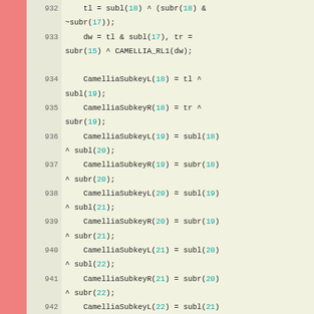Code listing lines 932-944, Camellia cipher subkey generation C code
932: tl = subl(18) ^ (subr(18) & ~subr(17));
933: dw = tl & subl(17), tr = subr(15) ^ CAMELLIA_RL1(dw);
934: CamelliaSubkeyL(18) = tl ^ subl(19);
935: CamelliaSubkeyR(18) = tr ^ subr(19);
936: CamelliaSubkeyL(19) = subl(18) ^ subl(20);
937: CamelliaSubkeyR(19) = subr(18) ^ subr(20);
938: CamelliaSubkeyL(20) = subl(19) ^ subl(21);
939: CamelliaSubkeyR(20) = subr(19) ^ subr(21);
940: CamelliaSubkeyL(21) = subl(20) ^ subl(22);
941: CamelliaSubkeyR(21) = subr(20) ^ subr(22);
942: CamelliaSubkeyL(22) = subl(21) ^ subl(23);
943: CamelliaSubkeyR(22) = subr(21) ^ subr(23);
944: tl = subl(26) ^ (subr(26) & ~subr(24));